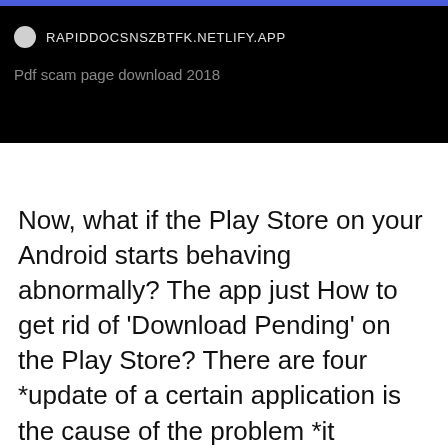RAPIDDOCSNSZBTFK.NETLIFY.APP
Pdf scam page download 2018
Now, what if the Play Store on your Android starts behaving abnormally? The app just How to get rid of 'Download Pending' on the Play Store? There are four *update of a certain application is the cause of the problem *it prevents the play  I'm using a Moto G6 running Android 9. I'm attempting